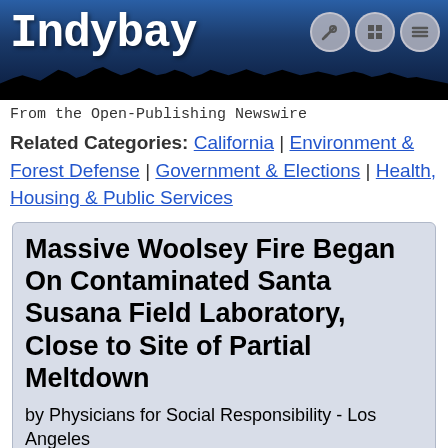[Figure (illustration): Indybay website header banner with logo text 'Indybay' in white monospace font on dark blue background with silhouette of crowd and three icon circles (pencil, grid, menu) in upper right]
From the Open-Publishing Newswire
Related Categories: California | Environment & Forest Defense | Government & Elections | Health, Housing & Public Services
Massive Woolsey Fire Began On Contaminated Santa Susana Field Laboratory, Close to Site of Partial Meltdown
by Physicians for Social Responsibility - Los Angeles
Monday Nov 12th, 2018 12:19 PM